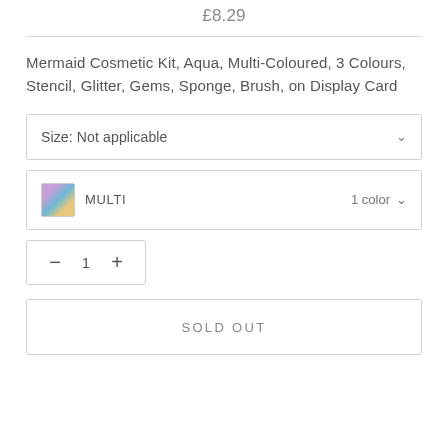£8.29
Mermaid Cosmetic Kit, Aqua, Multi-Coloured, 3 Colours, Stencil, Glitter, Gems, Sponge, Brush, on Display Card
Size: Not applicable
MULTI  1 color
1
SOLD OUT